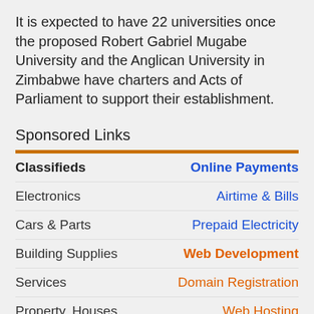It is expected to have 22 universities once the proposed Robert Gabriel Mugabe University and the Anglican University in Zimbabwe have charters and Acts of Parliament to support their establishment.
Sponsored Links
| Classifieds | Online Payments |
| --- | --- |
| Electronics | Airtime & Bills |
| Cars & Parts | Prepaid Electricity |
| Building Supplies | Web Development |
| Services | Domain Registration |
| Property, Houses | Web Hosting |